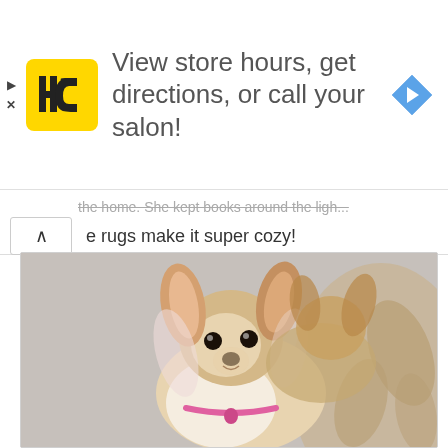[Figure (infographic): Advertisement banner for a hair salon chain (HC logo in yellow square) with text 'View store hours, get directions, or call your salon!' and a blue navigation arrow icon on the right. Small play and X controls on the far left edge.]
e rugs make it super cozy!
[Figure (photo): Photo of a small long-haired Chihuahua dog with large ears, cream/tan coloring and a pink collar, sitting on a light grey carpet next to a decorative rug with a floral/leaf pattern. The dog is looking up at the camera.]